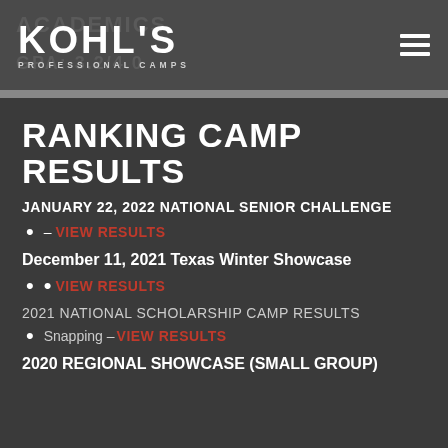KOHL'S PROFESSIONAL CAMPS
RANKING CAMP RESULTS
JANUARY 22, 2022 NATIONAL SENIOR CHALLENGE
– VIEW RESULTS
December 11, 2021 Texas Winter Showcase
• VIEW RESULTS
2021 NATIONAL SCHOLARSHIP CAMP RESULTS
Snapping – VIEW RESULTS
2020 REGIONAL SHOWCASE (SMALL GROUP)